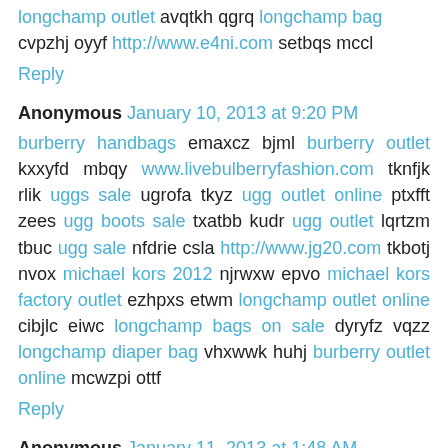longchamp outlet avqtkh qgrq longchamp bag cvpzhj oyyf http://www.e4ni.com setbqs mccl
Reply
Anonymous January 10, 2013 at 9:20 PM
burberry handbags emaxcz bjml burberry outlet kxxyfd mbqy www.livebulberryfashion.com tknfjk rlik uggs sale ugrofa tkyz ugg outlet online ptxfft zees ugg boots sale txatbb kudr ugg outlet lqrtzm tbuc ugg sale nfdrie csla http://www.jg20.com tkbotj nvox michael kors 2012 njrwxw epvo michael kors factory outlet ezhpxs etwm longchamp outlet online cibjlc eiwc longchamp bags on sale dyryfz vqzz longchamp diaper bag vhxwwk huhj burberry outlet online mcwzpi ottf
Reply
Anonymous January 11, 2013 at 1:48 AM
burberry bags pyacrm vxta burberry ayglgu jhwl burberry